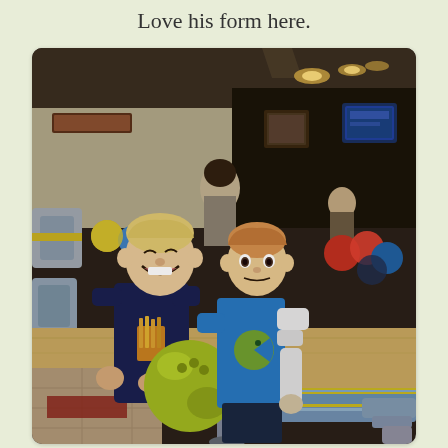Love his form here.
[Figure (photo): Two young toddler boys at a bowling alley. The boy on the left wears a dark navy shirt with a graphic design and is smiling, holding a yellow-green bowling ball on a bumper rail. The boy on the right wears a blue shirt with a Pac-Man style graphic over a white long-sleeve shirt. Behind them are bowling lane seating areas with colorful bowling balls, and other bowlers in the background. The scene is indoors under warm lighting.]